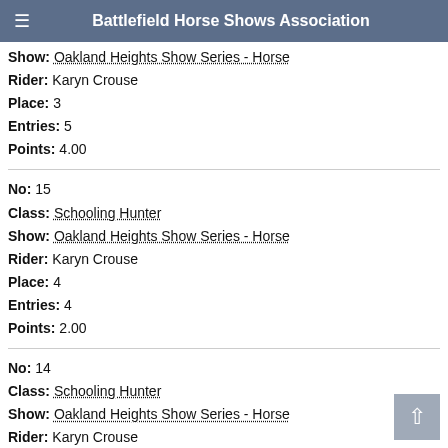Battlefield Horse Shows Association
Show: Oakland Heights Show Series - Horse
Rider: Karyn Crouse
Place: 3
Entries: 5
Points: 4.00
No: 15
Class: Schooling Hunter
Show: Oakland Heights Show Series - Horse
Rider: Karyn Crouse
Place: 4
Entries: 4
Points: 2.00
No: 14
Class: Schooling Hunter
Show: Oakland Heights Show Series - Horse
Rider: Karyn Crouse
Place: 5
Entries: 5
Points: 1.00